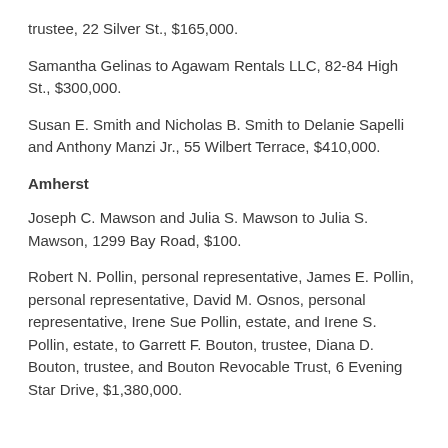trustee, 22 Silver St., $165,000.
Samantha Gelinas to Agawam Rentals LLC, 82-84 High St., $300,000.
Susan E. Smith and Nicholas B. Smith to Delanie Sapelli and Anthony Manzi Jr., 55 Wilbert Terrace, $410,000.
Amherst
Joseph C. Mawson and Julia S. Mawson to Julia S. Mawson, 1299 Bay Road, $100.
Robert N. Pollin, personal representative, James E. Pollin, personal representative, David M. Osnos, personal representative, Irene Sue Pollin, estate, and Irene S. Pollin, estate, to Garrett F. Bouton, trustee, Diana D. Bouton, trustee, and Bouton Revocable Trust, 6 Evening Star Drive, $1,380,000.